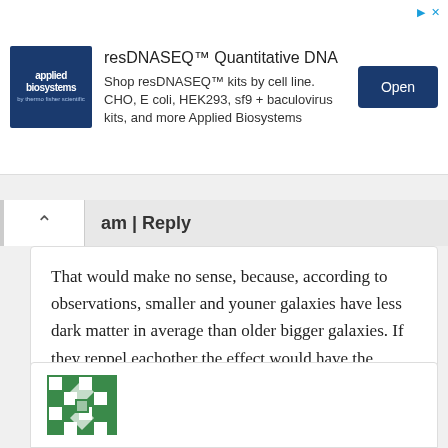[Figure (infographic): Advertisement banner for resDNASEQ Quantitative DNA kits by Applied Biosystems. Shows logo, ad text, and Open button.]
am | Reply
That would make no sense, because, according to observations, smaller and youner galaxies have less dark matter in average than older bigger galaxies. If they reppel eachother the effect would have the contrary result, and you would find most of dark matter in the inter-galaxy space
[Figure (illustration): Green and white decorative avatar/icon for next commenter.]